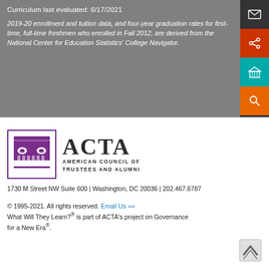Curriculum last evaluated: 6/17/2021
2019-20 enrollment and tuition data, and four-year graduation rates for first-time, full-time freshmen who enrolled in Fall 2012, are derived from the National Center for Education Statistics' College Navigator.
[Figure (logo): ACTA - American Council of Trustees and Alumni logo with column capital icon in purple border]
1730 M Street NW Suite 600 | Washington, DC 20036 | 202.467.6787
© 1995-2021. All rights reserved. Email Us >> What Will They Learn?® is part of ACTA's project on Governance for a New Era®.